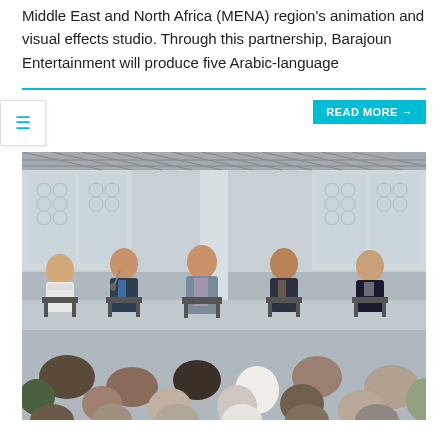Middle East and North Africa (MENA) region's animation and visual effects studio. Through this partnership, Barajoun Entertainment will produce five Arabic-language
[Figure (photo): Panel discussion with five men seated on chairs on a stage in a large modern venue with metal truss structures and glass walls in the background, with an audience visible from behind in the foreground.]